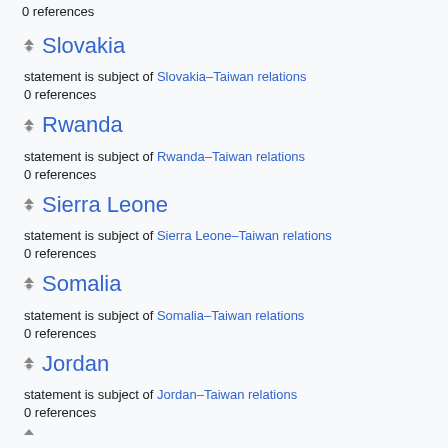0 references
Slovakia
statement is subject of Slovakia–Taiwan relations
0 references
Rwanda
statement is subject of Rwanda–Taiwan relations
0 references
Sierra Leone
statement is subject of Sierra Leone–Taiwan relations
0 references
Somalia
statement is subject of Somalia–Taiwan relations
0 references
Jordan
statement is subject of Jordan–Taiwan relations
0 references